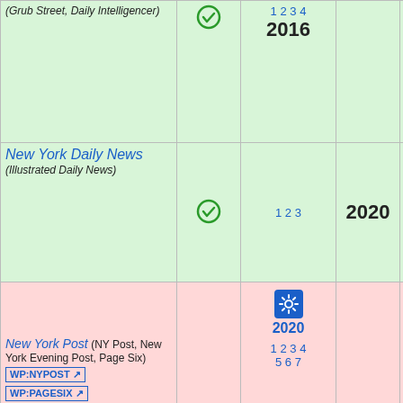| Publication | Status | References | Year | Notes |
| --- | --- | --- | --- | --- |
| Grub Street, Daily Intelligencer) | ✓ | 1 2 3 4 | 2016 | re... g... a... |
| New York Daily News (Illustrated Daily News) | ✓ | 1 2 3 | 2020 | M... N... th... |
| New York Post (NY Post, New York Evening Post, Page Six) WP:NYPOST WP:PAGESIX | 🚫 | 2020 1 2 3 4 5 6 7 | 2021 | T... g... w... p... o... a... c... p... p... Y... |
| (next row - green) |  |  |  | T... g... |